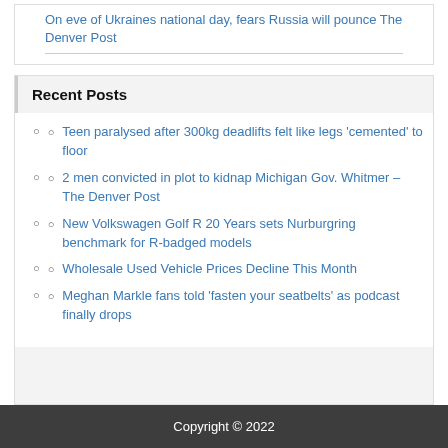On eve of Ukraines national day, fears Russia will pounce The Denver Post
Recent Posts
Teen paralysed after 300kg deadlifts felt like legs ‘cemented’ to floor
2 men convicted in plot to kidnap Michigan Gov. Whitmer – The Denver Post
New Volkswagen Golf R 20 Years sets Nurburgring benchmark for R-badged models
Wholesale Used Vehicle Prices Decline This Month
Meghan Markle fans told ‘fasten your seatbelts’ as podcast finally drops
Copyright © 2022